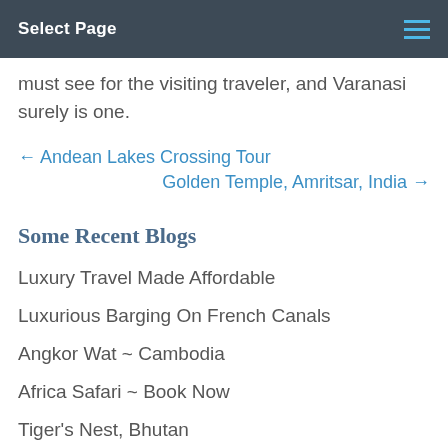Select Page
must see for the visiting traveler, and Varanasi surely is one.
← Andean Lakes Crossing Tour
Golden Temple, Amritsar, India →
Some Recent Blogs
Luxury Travel Made Affordable
Luxurious Barging On French Canals
Angkor Wat ~ Cambodia
Africa Safari ~ Book Now
Tiger's Nest, Bhutan